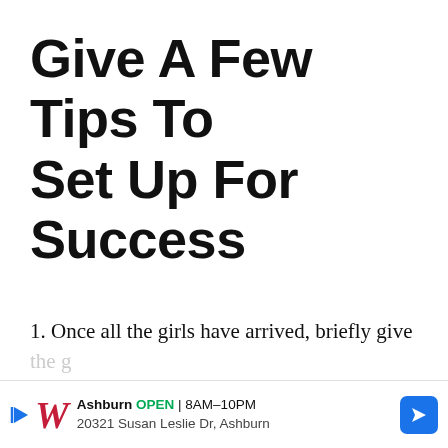Give A Few Tips To Set Up For Success
1. Once all the girls have arrived, briefly give the g[irls an overview of the even]t.
[Figure (infographic): Advertisement banner for Walgreens: Ashburn OPEN 8AM-10PM, 20321 Susan Leslie Dr, Ashburn, with Walgreens logo and navigation arrow icon]